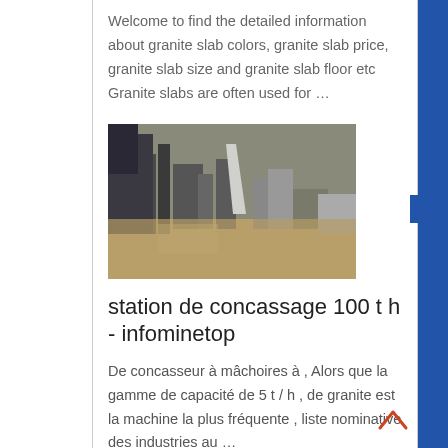Welcome to find the detailed information about granite slab colors, granite slab price, granite slab size and granite slab floor etc Granite slabs are often used for …
[Figure (photo): Industrial machinery photo showing crushing equipment with metal components and dust/debris]
station de concassage 100 t h - infominetop
De concasseur à mâchoires à , Alors que la gamme de capacité de 5 t / h , de granite est la machine la plus fréquente , liste nominative des industries au …
[Figure (photo): Industrial machinery or construction site photo, partially visible at bottom of page]